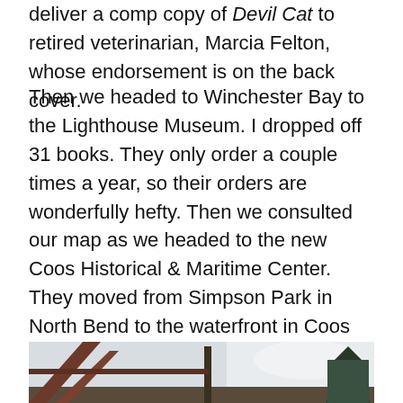deliver a comp copy of Devil Cat to retired veterinarian, Marcia Felton, whose endorsement is on the back cover.
Then we headed to Winchester Bay to the Lighthouse Museum. I dropped off 31 books. They only order a couple times a year, so their orders are wonderfully hefty. Then we consulted our map as we headed to the new Coos Historical & Maritime Center. They moved from Simpson Park in North Bend to the waterfront in Coos Bay. The new larger facility faces Highway 101, but was tricky to figure out how to get there. I'm sure there will be good signage when they actually open. Although scheduled to open May 31, they had to delay their grand opening for a few weeks. We had a tour, and it's a marvelous facility designed from the get-go to be a museum.
[Figure (photo): Partial photo showing what appears to be a building or structure at the bottom of the page, cut off.]